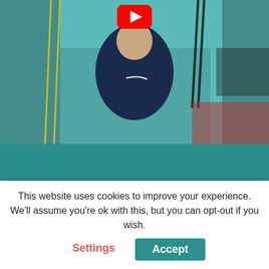[Figure (screenshot): YouTube video thumbnail showing a man in a dark Nike jacket in a gym with TRX and fitness equipment. A red YouTube play button icon is visible at the top center of the thumbnail.]
07912 845602
kevin@hurleyfitness.co.uk
[Figure (screenshot): Partial white card with partially visible italic text beginning 'Interested In A 90 Day...']
This website uses cookies to improve your experience. We'll assume you're ok with this, but you can opt-out if you wish.
Settings
Accept